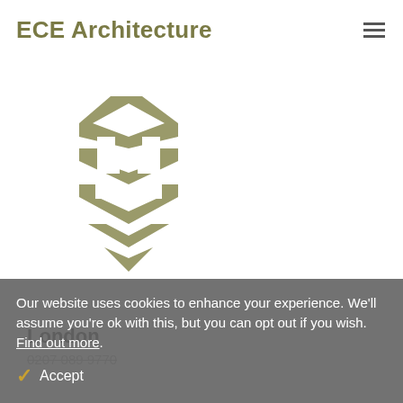ECE Architecture
[Figure (logo): ECE Architecture logo — stylized stacked geometric chevron/building shape in olive/khaki green color]
London
0207 089 9770
Our website uses cookies to enhance your experience. We'll assume you're ok with this, but you can opt out if you wish. Find out more.
Accept